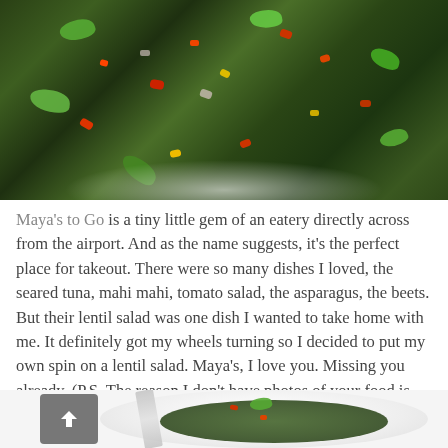[Figure (photo): Top-down photo of a lentil salad with colorful vegetables including red peppers, herbs, and green lentils on a white plate]
Maya's to Go is a tiny little gem of an eatery directly across from the airport.  And as the name suggests, it's the perfect place for takeout.  There were so many dishes I loved, the seared tuna, mahi mahi, tomato salad, the asparagus, the beets.  But their lentil salad was one dish I wanted to take home with me.  It definitely got my wheels turning so I decided to put my own spin on a lentil salad.  Maya's, I love you.  Missing you already.  (P.S. The reason I don't have photos of your food is that I was too busy eating it. 😉 )
[Figure (photo): Close-up photo of lentil salad on a white plate with a fork, partial view at the bottom of the page]